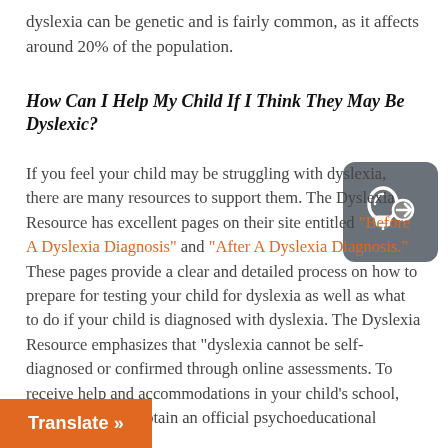dyslexia can be genetic and is fairly common, as it affects around 20% of the population.
How Can I Help My Child If I Think They May Be Dyslexic?
If you feel your child may be struggling with dyslexia, there are many resources to support them. The Dyslexia Resource has excellent pages on their site entitled “Before A Dyslexia Diagnosis” and “After A Dyslexia Diagnosis.” These pages provide a clear and detailed process on how to prepare for testing your child for dyslexia as well as what to do if your child is diagnosed with dyslexia. The Dyslexia Resource emphasizes that “dyslexia cannot be self-diagnosed or confirmed through online assessments. To receive help and accommodations in your child’s school, you will need to obtain an official psychoeducational evaluation.”
[Figure (logo): A dark grey rounded rectangle badge containing a lightbulb icon outline in white]
Translate »